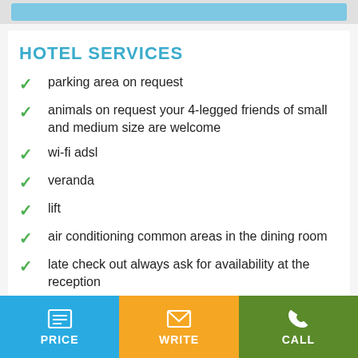HOTEL SERVICES
parking area on request
animals on request your 4-legged friends of small and medium size are welcome
wi-fi adsl
veranda
lift
air conditioning common areas in the dining room
late check out always ask for availability at the reception
daily for common use
PRICE | WRITE | CALL